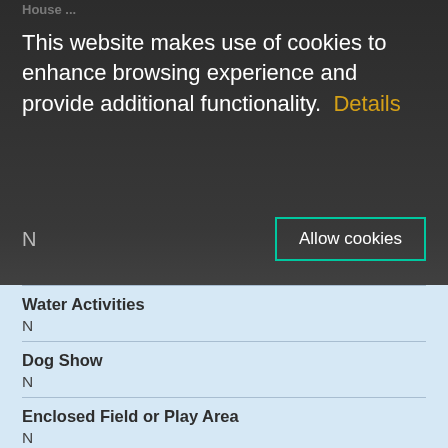This website makes use of cookies to enhance browsing experience and provide additional functionality.  Details
N
Allow cookies
Water Activities
N
Dog Show
N
Enclosed Field or Play Area
N
Farm, Sanctuary or Zoo
N